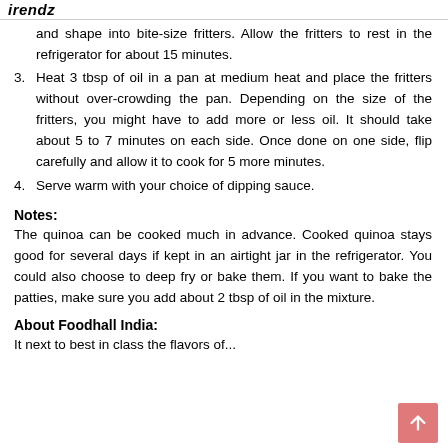irendz
and shape into bite-size fritters. Allow the fritters to rest in the refrigerator for about 15 minutes.
3. Heat 3 tbsp of oil in a pan at medium heat and place the fritters without over-crowding the pan. Depending on the size of the fritters, you might have to add more or less oil. It should take about 5 to 7 minutes on each side. Once done on one side, flip carefully and allow it to cook for 5 more minutes.
4. Serve warm with your choice of dipping sauce.
Notes:
The quinoa can be cooked much in advance. Cooked quinoa stays good for several days if kept in an airtight jar in the refrigerator. You could also choose to deep fry or bake them. If you want to bake the patties, make sure you add about 2 tbsp of oil in the mixture.
About Foodhall India:
It next to best in class the flavors of...